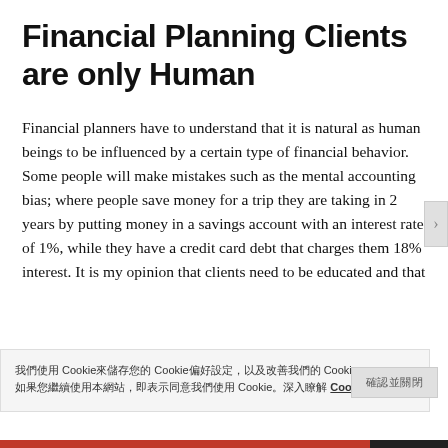Financial Planning Clients are only Human
Financial planners have to understand that it is natural as human beings to be influenced by a certain type of financial behavior. Some people will make mistakes such as the mental accounting bias; where people save money for a trip they are taking in 2 years by putting money in a savings account with an interest rate of 1%, while they have a credit card debt that charges them 18% interest. It is my opinion that clients need to be educated and that
我們使用 Cookie來儲存您的 Cookie偏好設定，以及改善我們的 Cookie。 如果您繼續使用本網站，即表示同意我們使用 Cookie。深入瞭解 Cookie 設定